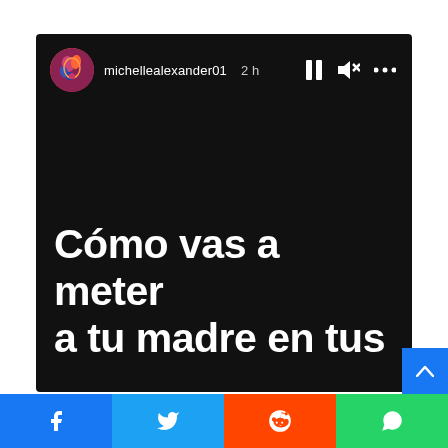[Figure (screenshot): Instagram story screenshot from user michellealexander01, posted 2h ago. The story has a black background with large white bold text reading: 'Cómo vas a meter a tu madre en tus'. Story controls (pause, mute, more options) are visible in the top-right corner. A circular avatar of the user appears in the top-left.]
[Figure (infographic): Social share bar at the bottom with four buttons: Facebook (blue), Twitter (light blue), Reddit (orange-red), WhatsApp (green). Each button shows the respective platform icon in white.]